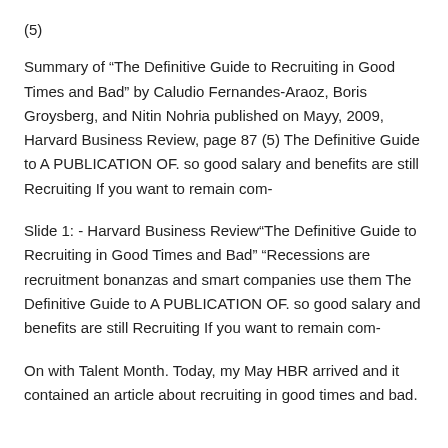(5)
Summary of “The Definitive Guide to Recruiting in Good Times and Bad” by Caludio Fernandes-Araoz, Boris Groysberg, and Nitin Nohria published on Mayy, 2009, Harvard Business Review, page 87 (5) The Definitive Guide to A PUBLICATION OF. so good salary and benefits are still Recruiting If you want to remain com-
Slide 1: - Harvard Business Review“The Definitive Guide to Recruiting in Good Times and Bad” “Recessions are recruitment bonanzas and smart companies use them The Definitive Guide to A PUBLICATION OF. so good salary and benefits are still Recruiting If you want to remain com-
On with Talent Month. Today, my May HBR arrived and it contained an article about recruiting in good times and bad.